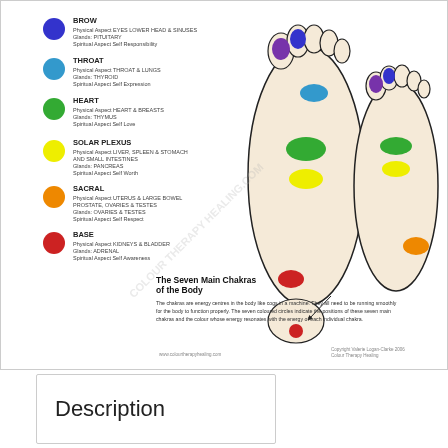[Figure (infographic): Seven Main Chakras of the Body reflexology chart showing two feet (soles up) with coloured circles indicating chakra positions. Left side lists chakras: Brow (dark blue circle), Throat (blue circle), Heart (green circle), Solar Plexus (yellow circle), Sacral (orange circle), Base (red circle), each with Physical Aspect, Glands, and Spiritual Aspect text. Footer title: 'The Seven Main Chakras of the Body' with explanatory paragraph. Watermark: COLOUR THERAPY HEALING.COM]
Description